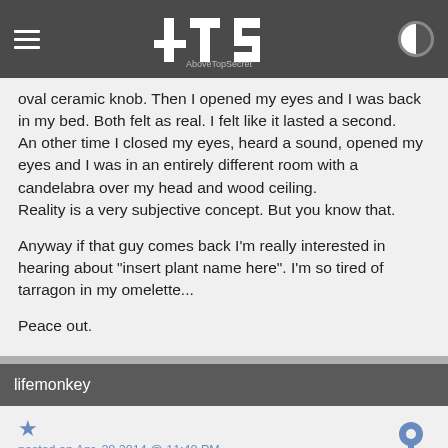ATS AboveTopSecret
oval ceramic knob. Then I opened my eyes and I was back in my bed. Both felt as real. I felt like it lasted a second.
An other time I closed my eyes, heard a sound, opened my eyes and I was in an entirely different room with a candelabra over my head and wood ceiling.
Reality is a very subjective concept. But you know that.

Anyway if that guy comes back I'm really interested in hearing about "insert plant name here". I'm so tired of tarragon in my omelette...

Peace out.
lifemonkey
posted on Apr, 28 2014 @ 11:40 PM
I've had very similar experiences, but not to do with the subject matter you're discussing and were thinking of